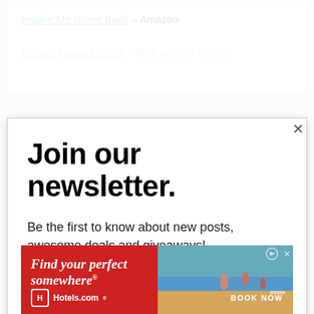Inspire Me Home Book – Amazon
Perfect Peony Candle – Bath & Body Works
Join our newsletter.
Be the first to know about new posts, awesome deals and giveaways!
Email address
Subscribe
[Figure (screenshot): Hotels.com advertisement banner with red background showing beach/vacation scene. Text reads 'Find your perfect somewhere' with Hotels.com logo and 'BOOK NOW' button.]